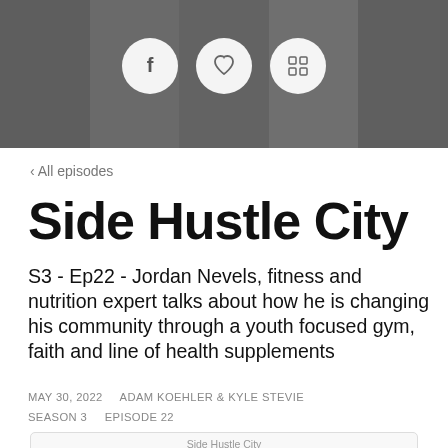[Figure (photo): Header banner with several people's faces in grayscale with social media icon buttons (Facebook, heart/like, and a grid/app icon) overlaid in white circles]
< All episodes
Side Hustle City
S3 - Ep22 - Jordan Nevels, fitness and nutrition expert talks about how he is changing his community through a youth focused gym, faith and line of health supplements
MAY 30, 2022    ADAM KOEHLER & KYLE STEVIE    SEASON 3    EPISODE 22
[Figure (screenshot): Preview card showing 'Side Hustle City' podcast name and 'S3 - Ep22 - Jordan Ne' episode title text partially visible]